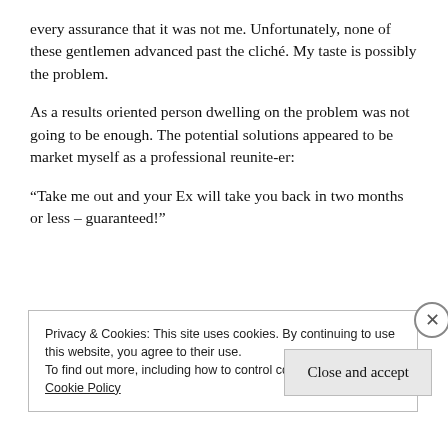every assurance that it was not me. Unfortunately, none of these gentlemen advanced past the cliché. My taste is possibly the problem.
As a results oriented person dwelling on the problem was not going to be enough. The potential solutions appeared to be market myself as a professional reunite-er:
“Take me out and your Ex will take you back in two months or less – guaranteed!”
Privacy & Cookies: This site uses cookies. By continuing to use this website, you agree to their use.
To find out more, including how to control cookies, see here: Cookie Policy
Close and accept